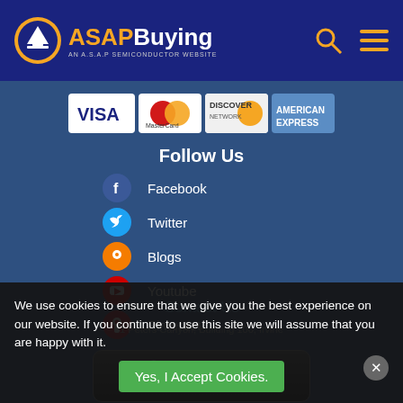[Figure (logo): ASAP Buying logo with airplane icon and text 'AN A.S.A.P SEMICONDUCTOR WEBSITE']
[Figure (illustration): Search icon and hamburger menu icon in orange]
[Figure (illustration): Payment method logos: VISA, MasterCard, DISCOVER, AMERICAN EXPRESS]
Follow Us
Facebook
Twitter
Blogs
Youtube
Pinterest
[Figure (illustration): Download on the App Store button]
We use cookies to ensure that we give you the best experience on our website. If you continue to use this site we will assume that you are happy with it.
Yes, I Accept Cookies.